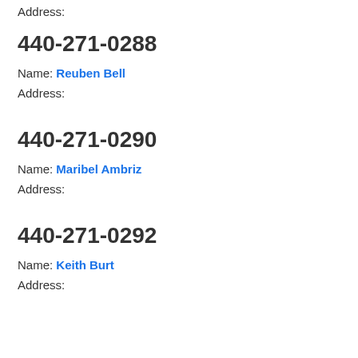Address:
440-271-0288
Name: Reuben Bell
Address:
440-271-0290
Name: Maribel Ambriz
Address:
440-271-0292
Name: Keith Burt
Address: